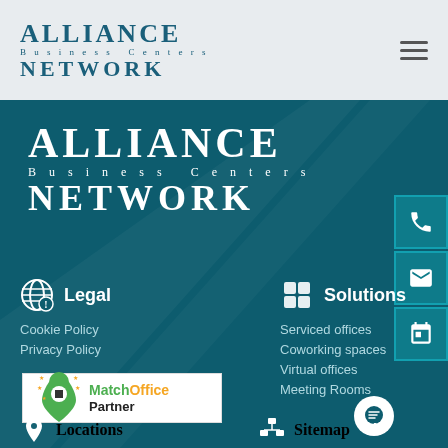[Figure (logo): Alliance Business Centers Network logo in teal, top header bar]
[Figure (logo): Alliance Business Centers Network logo in white, on dark teal background]
Legal
Cookie Policy
Privacy Policy
Solutions
Serviced offices
Coworking spaces
Virtual offices
Meeting Rooms
[Figure (logo): MatchOffice Partner badge with green and black text on white background]
Locations
Sitemap